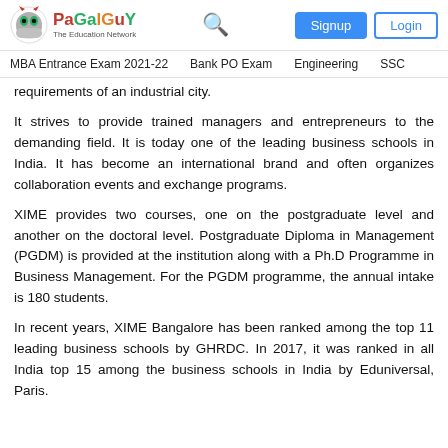PaGaLGuY — The Education Network | Signup | Login
MBA Entrance Exam 2021-22   Bank PO Exam   Engineering   SSC
requirements of an industrial city.
It strives to provide trained managers and entrepreneurs to the demanding field. It is today one of the leading business schools in India. It has become an international brand and often organizes collaboration events and exchange programs.
XIME provides two courses, one on the postgraduate level and another on the doctoral level. Postgraduate Diploma in Management (PGDM) is provided at the institution along with a Ph.D Programme in Business Management. For the PGDM programme, the annual intake is 180 students.
In recent years, XIME Bangalore has been ranked among the top 11 leading business schools by GHRDC. In 2017, it was ranked in all India top 15 among the business schools in India by Eduniversal, Paris.